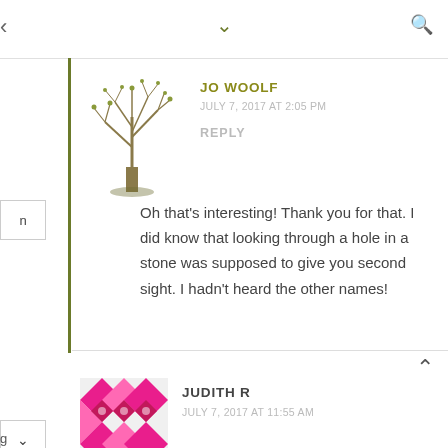navigation bar with chevron down and search icon
[Figure (illustration): Tree illustration avatar for Jo Woolf commenter]
JO WOOLF
JULY 7, 2017 AT 2:05 PM
REPLY
Oh that's interesting! Thank you for that. I did know that looking through a hole in a stone was supposed to give you second sight. I hadn't heard the other names!
[Figure (illustration): Pink and magenta geometric/floral avatar for Judith R commenter]
JUDITH R
JULY 7, 2017 AT 11:55 AM